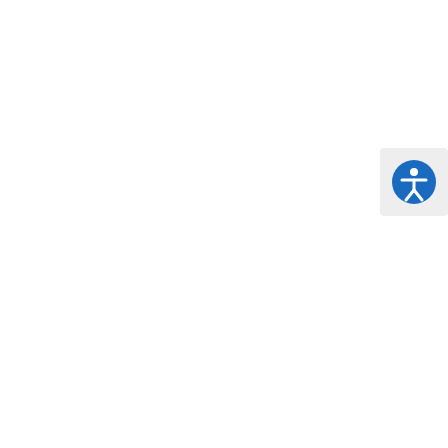orm. Any other reprod
[Figure (other): Accessibility icon button - blue circle with white person/accessibility symbol]